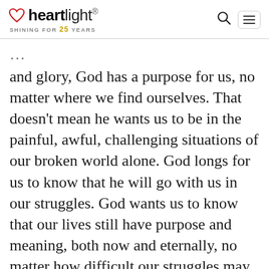heartlight® SHINING FOR 25 YEARS
and glory, God has a purpose for us, no matter where we find ourselves. That doesn't mean he wants us to be in the painful, awful, challenging situations of our broken world alone. God longs for us to know that he will go with us in our struggles. God wants us to know that our lives still have purpose and meaning, both now and eternally, no matter how difficult our struggles may be. Our Father will accomplish something out of messes for our good, his glory, and someone else's salvation.